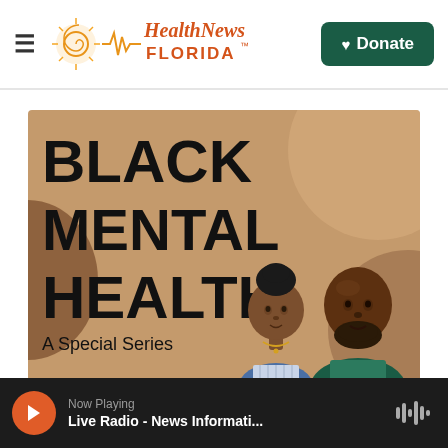Health News Florida — Donate
[Figure (illustration): Black Mental Health A Special Series — illustrated graphic featuring two Black individuals (a woman and a man) on a tan/brown background with decorative circular shapes. Bold black text reads 'BLACK MENTAL HEALTH' and below 'A Special Series'.]
Now Playing — Live Radio - News Informati...